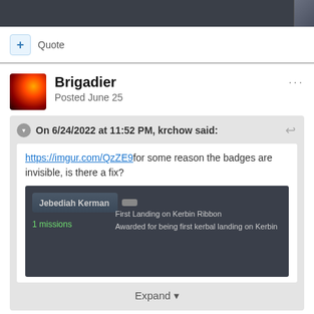[Figure (screenshot): Dark forum header bar with small accent image at top right]
+ Quote
Brigadier
Posted June 25
On 6/24/2022 at 11:52 PM, krchow said:
https://imgur.com/QzZE9for some reason the badges are invisible, is there a fix?
[Figure (screenshot): Screenshot of Kerbal Space Program interface showing Jebediah Kerman with 1 missions and First Landing on Kerbin Ribbon award]
Expand ▼
You haven't given much to go on here.  Which versions of KSP and FF do